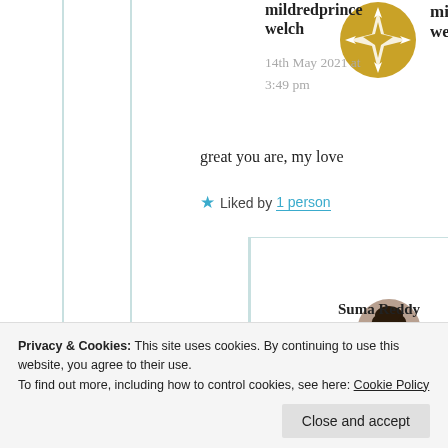[Figure (illustration): Gold circular avatar with compass/star icon in gold color]
mildredprince welch
14th May 2021 at 3:49 pm
great you are, my love
★ Liked by 1 person
[Figure (photo): Photo of Suma Reddy, a woman]
Suma Reddy
are with me. Thank you
Privacy & Cookies: This site uses cookies. By continuing to use this website, you agree to their use.
To find out more, including how to control cookies, see here: Cookie Policy
Close and accept